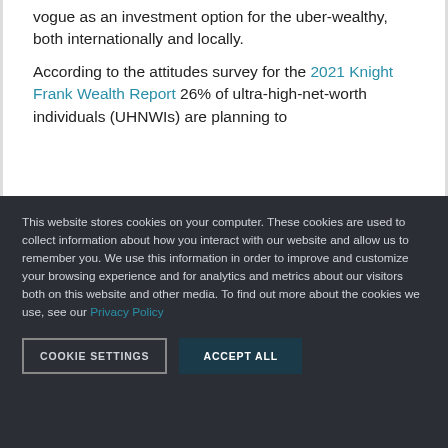vogue as an investment option for the uber-wealthy, both internationally and locally.
According to the attitudes survey for the 2021 Knight Frank Wealth Report 26% of ultra-high-net-worth individuals (UHNWIs) are planning to
This website stores cookies on your computer. These cookies are used to collect information about how you interact with our website and allow us to remember you. We use this information in order to improve and customize your browsing experience and for analytics and metrics about our visitors both on this website and other media. To find out more about the cookies we use, see our Privacy Policy